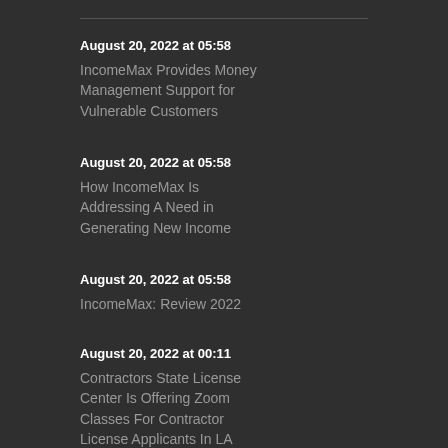August 20, 2022 at 05:58
IncomeMax Provides Money Management Support for Vulnerable Customers
August 20, 2022 at 05:58
How IncomeMax Is Addressing A Need in Generating New Income
August 20, 2022 at 05:58
IncomeMax: Review 2022
August 20, 2022 at 00:11
Contractors State License Center Is Offering Zoom Classes For Contractor License Applicants In LA